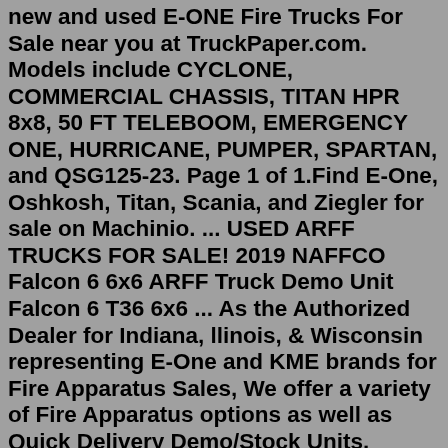new and used E-ONE Fire Trucks For Sale near you at TruckPaper.com. Models include CYCLONE, COMMERCIAL CHASSIS, TITAN HPR 8x8, 50 FT TELEBOOM, EMERGENCY ONE, HURRICANE, PUMPER, SPARTAN, and QSG125-23. Page 1 of 1.Find E-One, Oshkosh, Titan, Scania, and Ziegler for sale on Machinio. ... USED ARFF TRUCKS FOR SALE! 2019 NAFFCO Falcon 6 6x6 ARFF Truck Demo Unit Falcon 6 T36 6x6 ... As the Authorized Dealer for Indiana, llinois, & Wisconsin representing E-One and KME brands for Fire Apparatus Sales, We offer a variety of Fire Apparatus options as well as Quick Delivery Demo/Stock Units. Looking to Build/Purchase a new firetruck? Check out our various options available below and Contact Us today! Learn More... Learn More... Contact our Sales Department at 877-346-1373. CENTRAL PENNSYLVANIA DEALER E-ONE DEALER CENTRAL PENNSYLVANIA E-ONE is a worldwide designer, manufacturer and marketer of fire rescue vehicles with more than 23,000 vehicles in operation